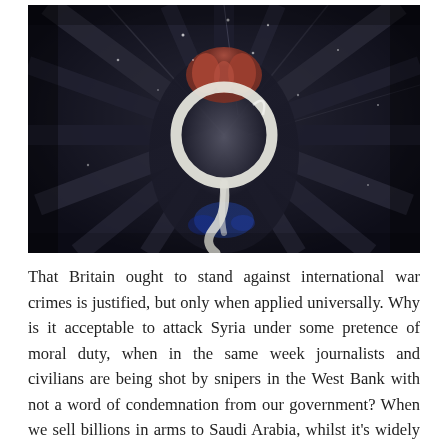[Figure (photo): A dark, dramatic close-up photograph showing hands gripping a white circular ring or rope loop, surrounded by dark feathers or fabric radiating outward. The image has a monochromatic, high-contrast look with blue accents in the lower center.]
That Britain ought to stand against international war crimes is justified, but only when applied universally. Why is it acceptable to attack Syria under some pretence of moral duty, when in the same week journalists and civilians are being shot by snipers in the West Bank with not a word of condemnation from our government? When we sell billions in arms to Saudi Arabia, whilst it's widely known